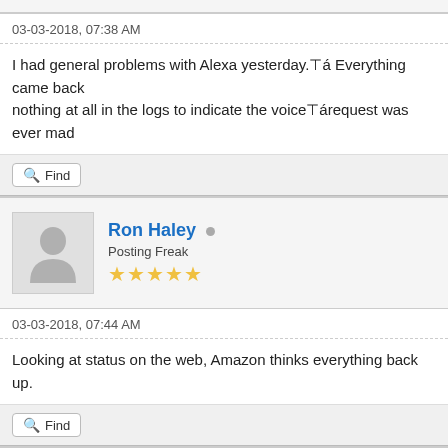03-03-2018, 07:38 AM
I had general problems with Alexa yesterday.┬á Everything came back... nothing at all in the logs to indicate the voice┬árequest was ever mad...
Find
Ron Haley
Posting Freak
03-03-2018, 07:44 AM
Looking at status on the web, Amazon thinks everything back up.
Find
Ron Haley
Posting Freak